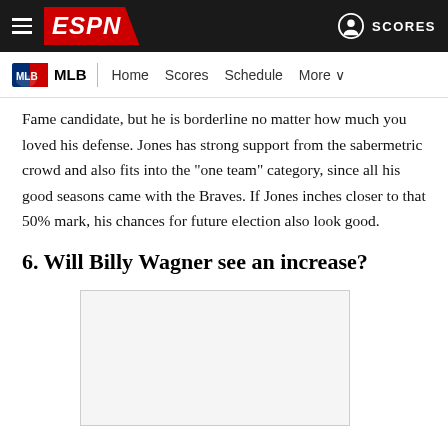[Figure (screenshot): ESPN website top navigation bar with hamburger menu, ESPN logo on red background, and SCORES button with user icon on dark background]
[Figure (screenshot): MLB secondary navigation bar with MLB logo, MLB label, and nav links: Home, Scores, Schedule, More]
Fame candidate, but he is borderline no matter how much you loved his defense. Jones has strong support from the sabermetric crowd and also fits into the "one team" category, since all his good seasons came with the Braves. If Jones inches closer to that 50% mark, his chances for future election also look good.
6. Will Billy Wagner see an increase?
[Figure (photo): Image placeholder box (content not visible)]